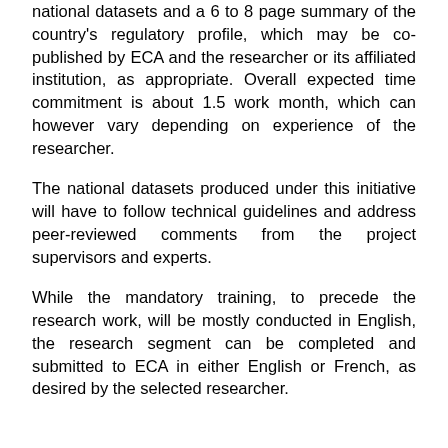national datasets and a 6 to 8 page summary of the country's regulatory profile, which may be co-published by ECA and the researcher or its affiliated institution, as appropriate. Overall expected time commitment is about 1.5 work month, which can however vary depending on experience of the researcher.
The national datasets produced under this initiative will have to follow technical guidelines and address peer-reviewed comments from the project supervisors and experts.
While the mandatory training, to precede the research work, will be mostly conducted in English, the research segment can be completed and submitted to ECA in either English or French, as desired by the selected researcher.